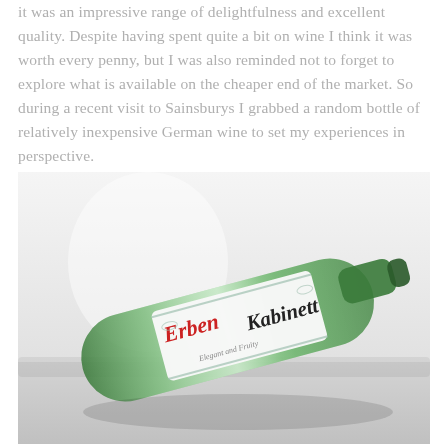it was an impressive range of delightfulness and excellent quality. Despite having spent quite a bit on wine I think it was worth every penny, but I was also reminded not to forget to explore what is available on the cheaper end of the market. So during a recent visit to Sainsburys I grabbed a random bottle of relatively inexpensive German wine to set my experiences in perspective.
[Figure (photo): A green glass wine bottle lying on its side at an angle, showing the label 'Erben Kabinett' in decorative red and black script on a white label with ornamental design. The bottle is photographed against a light grey/white background.]